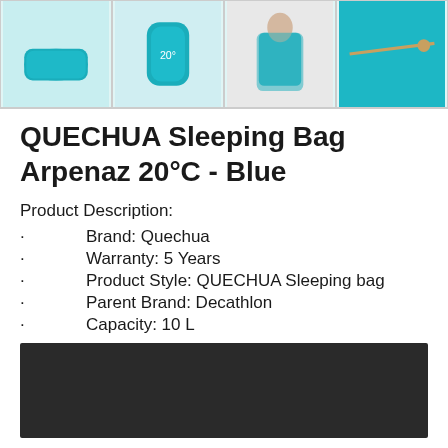[Figure (photo): Four thumbnail images of QUECHUA Sleeping Bag Arpenaz 20°C in Blue: flat sleeping bag, rolled/packed bag, person wearing bag vest-style, close-up of blue fabric with drawstring]
QUECHUA Sleeping Bag Arpenaz 20°C - Blue
Product Description:
Brand: Quechua
Warranty: 5 Years
Product Style: QUECHUA Sleeping bag
Parent Brand: Decathlon
Capacity: 10 L
[Figure (photo): Dark/black background image, partially visible at bottom of page]